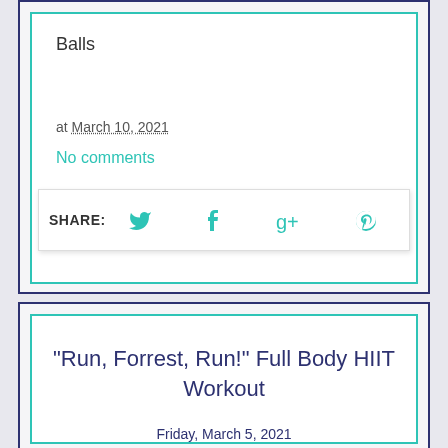Balls
at March 10, 2021
No comments
SHARE:
"Run, Forrest, Run!" Full Body HIIT Workout
Friday, March 5, 2021
The Q: Curly